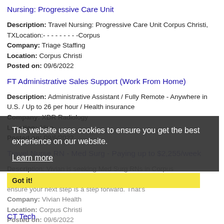Nursing: Progressive Care Unit
Description: Travel Nursing: Progressive Care Unit Corpus Christi, TXLocation:- - - - - - - - -Corpus
Company: Triage Staffing
Location: Corpus Christi
Posted on: 09/6/2022
FT Administrative Sales Support (Work From Home)
Description: Administrative Assistant / Fully Remote - Anywhere in U.S. / Up to 26 per hour / Health insurance
Company: XDR Radiology
Location: Alice
Posted on: 09/6/2022
Travel Nurse RN - Med Surg - Paying up to $2,255/week
Description: Vivian is seeking Med Surg RNs in Corpus Christi, Texas paying up to 2,355/week br br br At Vivian, we ensure your next step is a step forward. That's
Company: Vivian Health
Location: Corpus Christi
Posted on: 09/6/2022
This website uses cookies to ensure you get the best experience on our website. Learn more
Got it!
CT Tech